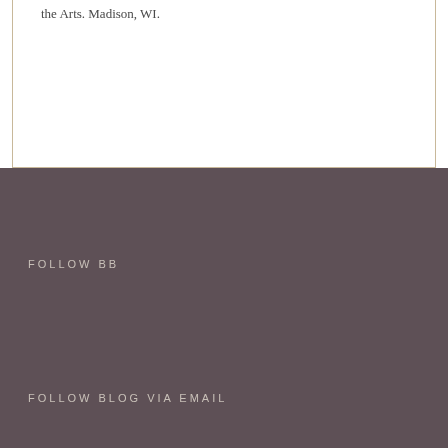the Arts. Madison, WI.
FOLLOW BB
FOLLOW BLOG VIA EMAIL